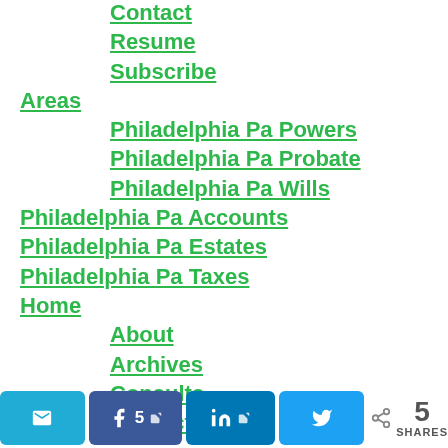Contact
Resume
Subscribe
Areas
Philadelphia Pa Powers
Philadelphia Pa Probate
Philadelphia Pa Wills
Philadelphia Pa Accounts
Philadelphia Pa Estates
Philadelphia Pa Taxes
Home
About
Archives
Consults
Contact